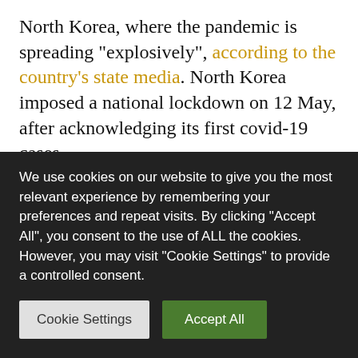North Korea, where the pandemic is spreading "explosively", according to the country's state media. North Korea imposed a national lockdown on 12 May, after acknowledging its first covid-19 cases.

Since late April, 350,000 people in North Korea have been treated for fever, but the country is thought to have little capacity for covid-19 testing. It has not reported carrying out any covid-19
We use cookies on our website to give you the most relevant experience by remembering your preferences and repeat visits. By clicking "Accept All", you consent to the use of ALL the cookies. However, you may visit "Cookie Settings" to provide a controlled consent.